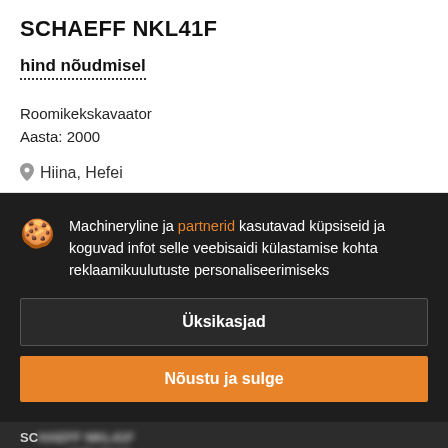SCHAEFF NKL41F
hind nõudmisel
Roomikekskavaator
Aasta: 2000
Hiina, Hefei
Machineryline ja partnerid kasutavad küpsiseid ja koguvad infot selle veebisaidi külastamise kohta reklaamikuulutuste personaliseerimiseks
Üksikasjad
Nõustu ja sulge
SC...
5 250 €